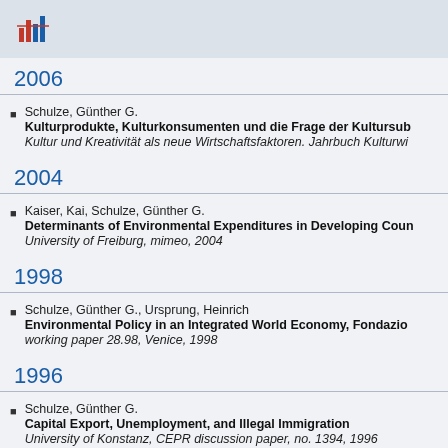2006
Schulze, Günther G.
Kulturprodukte, Kulturkonsumenten und die Frage der Kultursub…
Kultur und Kreativität als neue Wirtschaftsfaktoren. Jahrbuch Kulturwi…
2004
Kaiser, Kai, Schulze, Günther G.
Determinants of Environmental Expenditures in Developing Coun…
University of Freiburg, mimeo, 2004
1998
Schulze, Günther G., Ursprung, Heinrich
Environmental Policy in an Integrated World Economy, Fondazio…
working paper 28.98, Venice, 1998
1996
Schulze, Günther G.
Capital Export, Unemployment, and Illegal Immigration
University of Konstanz, CEPR discussion paper, no. 1394, 1996